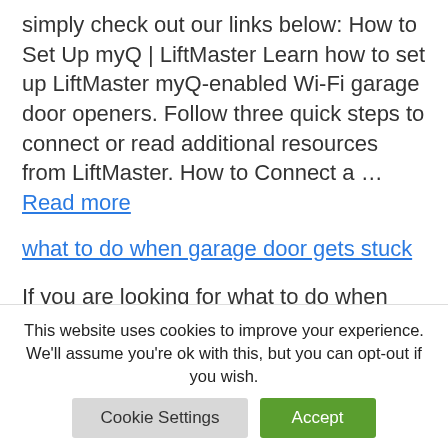simply check out our links below: How to Set Up myQ | LiftMaster Learn how to set up LiftMaster myQ-enabled Wi-Fi garage door openers. Follow three quick steps to connect or read additional resources from LiftMaster. How to Connect a … Read more
what to do when garage door gets stuck
If you are looking for what to do when garage door gets stuck , simply check
This website uses cookies to improve your experience. We'll assume you're ok with this, but you can opt-out if you wish.